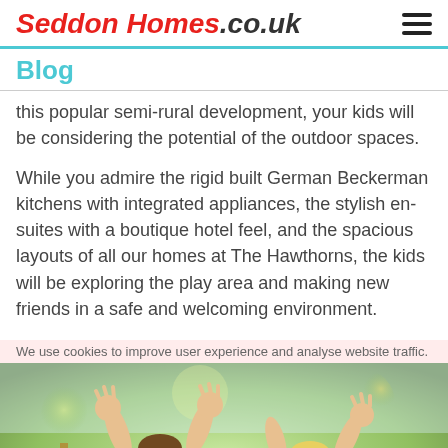Seddon Homes.co.uk
Blog
this popular semi-rural development, your kids will be considering the potential of the outdoor spaces.
While you admire the rigid built German Beckerman kitchens with integrated appliances, the stylish en-suites with a boutique hotel feel, and the spacious layouts of all our homes at The Hawthorns, the kids will be exploring the play area and making new friends in a safe and welcoming environment.
We use cookies to improve user experience and analyse website traffic.
[Figure (photo): Two children with arms raised happily at a playground, smiling with joy]